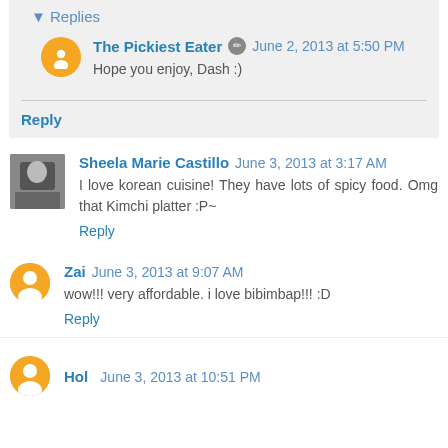Replies
The Pickiest Eater · June 2, 2013 at 5:50 PM
Hope you enjoy, Dash :)
Reply
Sheela Marie Castillo · June 3, 2013 at 3:17 AM
I love korean cuisine! They have lots of spicy food. Omg that Kimchi platter :P~
Reply
Zai · June 3, 2013 at 9:07 AM
wow!!! very affordable. i love bibimbap!!! :D
Reply